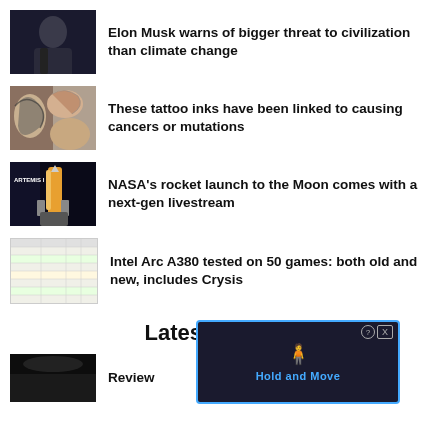[Figure (photo): Partial image at top, person silhouette]
Elon Musk warns of bigger threat to civilization than climate change
[Figure (photo): Tattoo ink on skin]
These tattoo inks have been linked to causing cancers or mutations
[Figure (photo): NASA Artemis I rocket launch]
NASA's rocket launch to the Moon comes with a next-gen livestream
[Figure (table-as-image): Intel Arc A380 benchmark table]
Intel Arc A380 tested on 50 games: both old and new, includes Crysis
Latest Reviews
[Figure (screenshot): Hold and Move app advertisement overlay]
[Figure (photo): Outdoor winter scene thumbnail]
Review